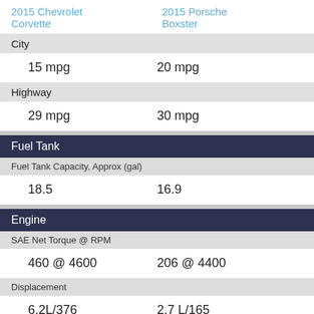2015 Chevrolet Corvette    2015 Porsche Boxster
City
15 mpg    20 mpg
Highway
29 mpg    30 mpg
Fuel Tank
Fuel Tank Capacity, Approx (gal)
18.5    16.9
Engine
SAE Net Torque @ RPM
460 @ 4600    206 @ 4400
Displacement
6.2L/376    2.7 L/165